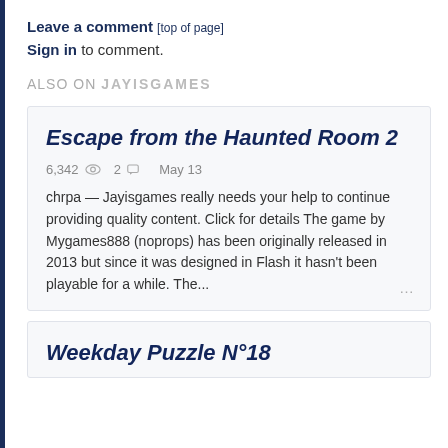Leave a comment [top of page]
Sign in to comment.
ALSO ON JAYISGAMES
Escape from the Haunted Room 2
6,342 [eye icon] 2 [comment icon] May 13
chrpa — Jayisgames really needs your help to continue providing quality content. Click for details The game by Mygames888 (noprops) has been originally released in 2013 but since it was designed in Flash it hasn't been playable for a while. The...
Weekday Puzzle N°18